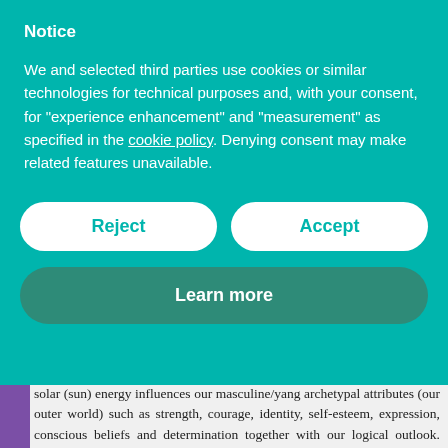Notice
We and selected third parties use cookies or similar technologies for technical purposes and, with your consent, for “experience enhancement” and “measurement” as specified in the cookie policy. Denying consent may make related features unavailable.
Reject
Accept
Learn more
At the time of the Full Moon the Sun and Moon are in opposition. The solar (sun) energy influences our masculine/yang archetypal attributes (our outer world) such as strength, courage, identity, self-esteem, expression, conscious beliefs and determination together with our logical outlook. Whereas the lunar energy (moon) influences our femininely archetypal